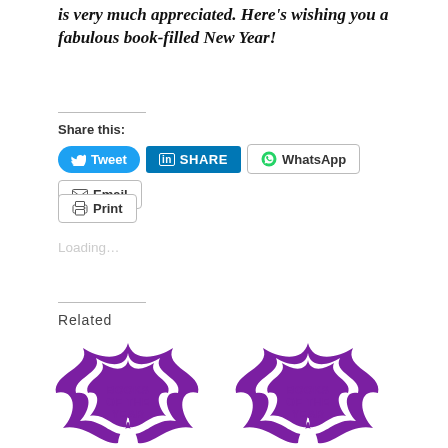is very much appreciated. Here's wishing you a fabulous book-filled New Year!
Share this:
Tweet  SHARE  WhatsApp  Email
Print
Loading...
Related
[Figure (illustration): Books of the Year logo — purple star shape with 'BOOKS OF THE YEAR' text inside, two instances side by side]
[Figure (illustration): Books of the Year logo — second instance]